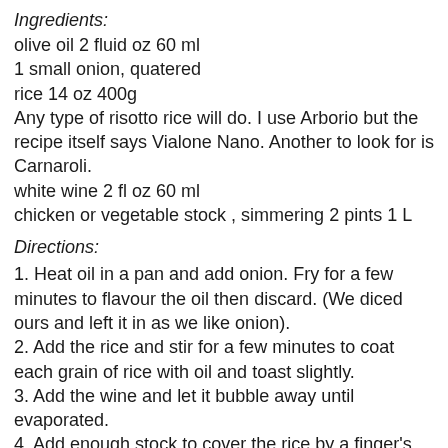Ingredients:
olive oil 2 fluid oz 60 ml
1 small onion, quatered
rice 14 oz 400g
Any type of risotto rice will do. I use Arborio but the recipe itself says Vialone Nano. Another to look for is Carnaroli.
white wine 2 fl oz 60 ml
chicken or vegetable stock , simmering 2 pints 1 L
Directions:
1. Heat oil in a pan and add onion. Fry for a few minutes to flavour the oil then discard. (We diced ours and left it in as we like onion).
2. Add the rice and stir for a few minutes to coat each grain of rice with oil and toast slightly.
3. Add the wine and let it bubble away until evaporated.
4. Add enough stock to cover the rice by a finger's width (about an inch or two). Don't actually stick your finger in, it will be hot. Just eye it off.
5. Cook on medium heat, stirring with a wooden spoon from time to time, until most of the stock has been absorbed.